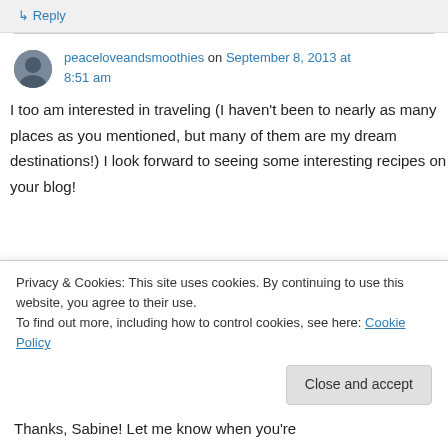↳ Reply
peaceloveandsmothies on September 8, 2013 at 8:51 am
I too am interested in traveling (I haven't been to nearly as many places as you mentioned, but many of them are my dream destinations!) I look forward to seeing some interesting recipes on your blog!
Privacy & Cookies: This site uses cookies. By continuing to use this website, you agree to their use.
To find out more, including how to control cookies, see here: Cookie Policy
Close and accept
Thanks, Sabine! Let me know when you're